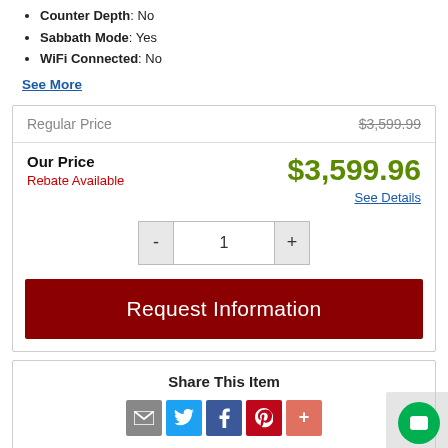Counter Depth: No
Sabbath Mode: Yes
WiFi Connected: No
See More
| Label | Value |
| --- | --- |
| Regular Price | $3,599.99 |
| Our Price | $3,599.96 |
| Rebate Available | See Details |
Request Information
Share This Item